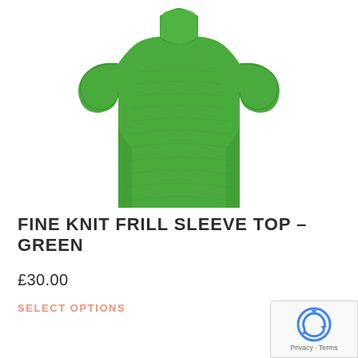[Figure (photo): Green fine knit frill sleeve top, showing upper body/torso portion of the garment against a white background. The top is bright green with short frill/flutter sleeves and a fitted ribbed body.]
FINE KNIT FRILL SLEEVE TOP – GREEN
£30.00
SELECT OPTIONS